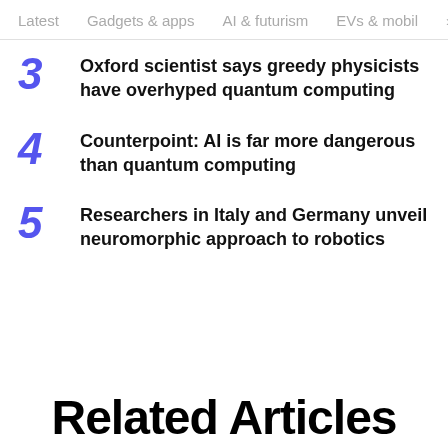Latest   Gadgets & apps   AI & futurism   EVs & mobil  >
3  Oxford scientist says greedy physicists have overhyped quantum computing
4  Counterpoint: AI is far more dangerous than quantum computing
5  Researchers in Italy and Germany unveil neuromorphic approach to robotics
Related Articles